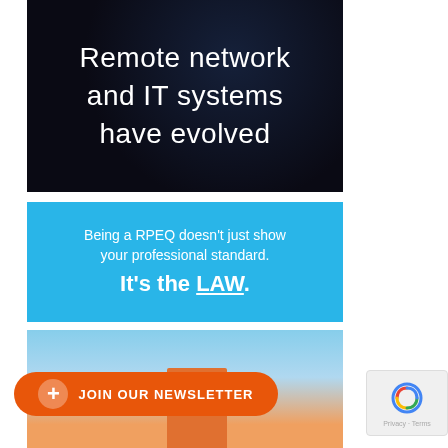[Figure (illustration): Dark background image with network/IT systems visual and white text reading 'Remote network and IT systems have evolved']
[Figure (illustration): Cyan/blue banner with text 'Being a RPEQ doesn't just show your professional standard. It's the LAW.' followed by a photo of a worker in high-vis vest and hard hat, plus a 'JOIN OUR NEWSLETTER' button]
[Figure (other): reCAPTCHA privacy widget in bottom right corner showing 'Privacy · Terms']